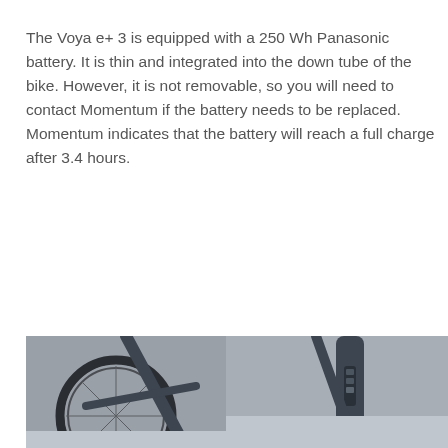The Voya e+ 3 is equipped with a 250 Wh Panasonic battery. It is thin and integrated into the down tube of the bike. However, it is not removable, so you will need to contact Momentum if the battery needs to be replaced. Momentum indicates that the battery will reach a full charge after 3.4 hours.
[Figure (photo): Close-up photo of a dark grey/blue electric bicycle showing the rear wheel, frame, and integrated battery in the down tube.]